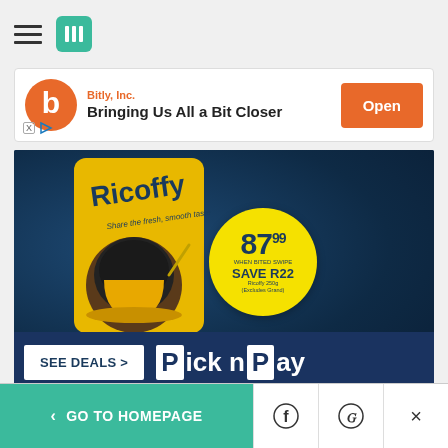Navigation bar with hamburger menu and HuffPost logo
[Figure (screenshot): Bitly Inc. app install banner with orange logo, tagline 'Bringing Us All a Bit Closer', and orange Open button]
[Figure (screenshot): Pick n Pay advertisement showing Ricoff coffee can with price badge 87.99 SAVE R22, SEE DEALS button, and Pick n Pay logo on dark blue background]
AdChoices  Sponsored
< GO TO HOMEPAGE  [Facebook] [Twitter] [X]